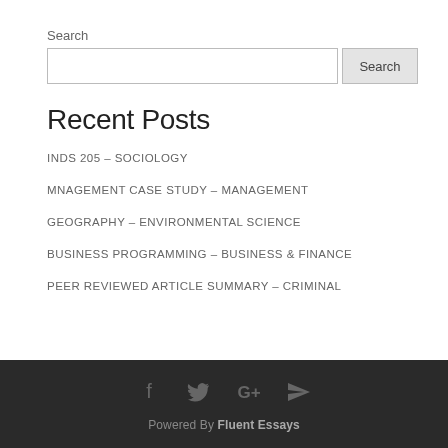Search
Search [input field and button]
Recent Posts
INDS 205 – SOCIOLOGY
MNAGEMENT CASE STUDY – MANAGEMENT
GEOGRAPHY – ENVIRONMENTAL SCIENCE
BUSINESS PROGRAMMING – BUSINESS & FINANCE
PEER REVIEWED ARTICLE SUMMARY – CRIMINAL
Powered By Fluent Essays